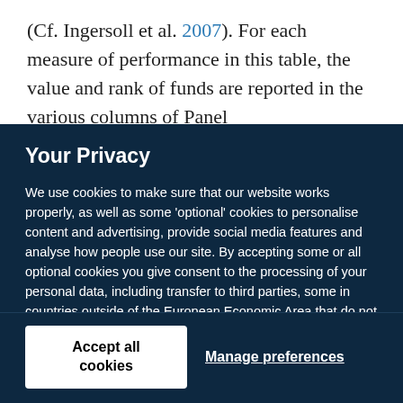(Cf. Ingersoll et al. 2007). For each measure of performance in this table, the value and rank of funds are reported in the various columns of Panel
Your Privacy
We use cookies to make sure that our website works properly, as well as some 'optional' cookies to personalise content and advertising, provide social media features and analyse how people use our site. By accepting some or all optional cookies you give consent to the processing of your personal data, including transfer to third parties, some in countries outside of the European Economic Area that do not offer the same data protection standards as the country where you live. You can decide which optional cookies to accept by clicking on 'Manage Settings', where you can also find more information about how your personal data is processed. Further information can be found in our privacy policy.
Accept all cookies
Manage preferences